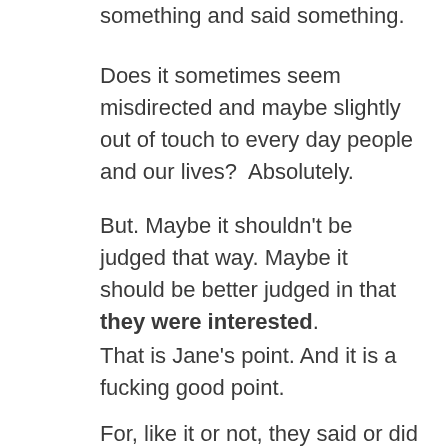something and said something.
Does it sometimes seem misdirected and maybe slightly out of touch to every day people and our lives?  Absolutely.
But. Maybe it shouldn't be judged that way. Maybe it should be better judged in that they were interested.
That is Jane's point. And it is a fucking good point.
For, like it or not, they said or did